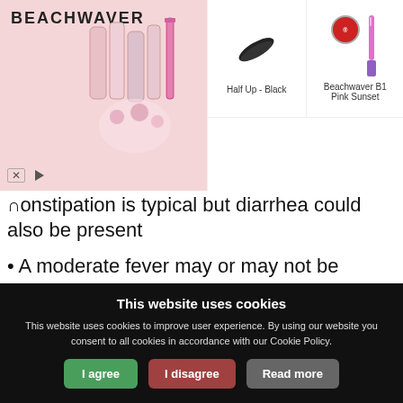[Figure (screenshot): Beachwaver advertisement banner showing pink hair tools and accessories, with product listings for 'Half Up - Black' hair clip and 'Beachwaver B1 Pink Sunset' curling iron]
• constipation is typical but diarrhea could also be present
• A moderate fever may or may not be present, but is most common
• As the appendicitis progresses, the pain usually will “settle” in the lower right abdomen
• When afflicted by appendicitis a person typically receives some relief from the pain by pulling the right leg up towards the chest, bent at the knee
This website uses cookies
This website uses cookies to improve user experience. By using our website you consent to all cookies in accordance with our Cookie Policy.
I agree | I disagree | Read more